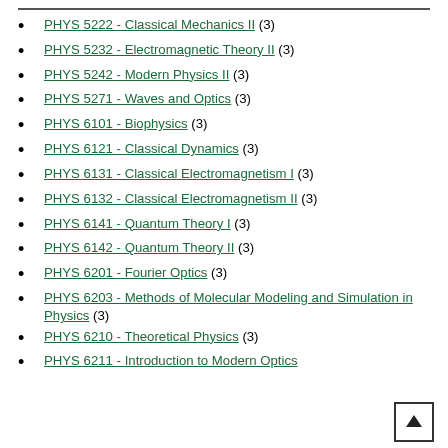PHYS 5222 - Classical Mechanics II (3)
PHYS 5232 - Electromagnetic Theory II (3)
PHYS 5242 - Modern Physics II (3)
PHYS 5271 - Waves and Optics (3)
PHYS 6101 - Biophysics (3)
PHYS 6121 - Classical Dynamics (3)
PHYS 6131 - Classical Electromagnetism I (3)
PHYS 6132 - Classical Electromagnetism II (3)
PHYS 6141 - Quantum Theory I (3)
PHYS 6142 - Quantum Theory II (3)
PHYS 6201 - Fourier Optics (3)
PHYS 6203 - Methods of Molecular Modeling and Simulation in Physics (3)
PHYS 6210 - Theoretical Physics (3)
PHYS 6211 - Introduction to Modern Optics